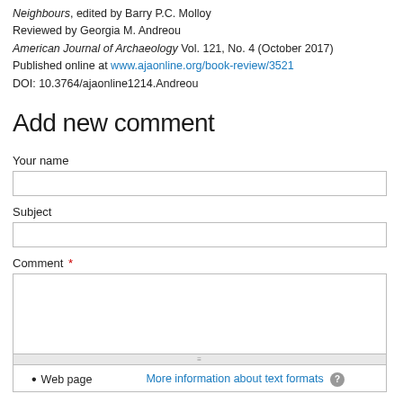Neighbours, edited by Barry P.C. Molloy
Reviewed by Georgia M. Andreou
American Journal of Archaeology Vol. 121, No. 4 (October 2017)
Published online at www.ajaonline.org/book-review/3521
DOI: 10.3764/ajaonline1214.Andreou
Add new comment
Your name
Subject
Comment *
Web page
More information about text formats